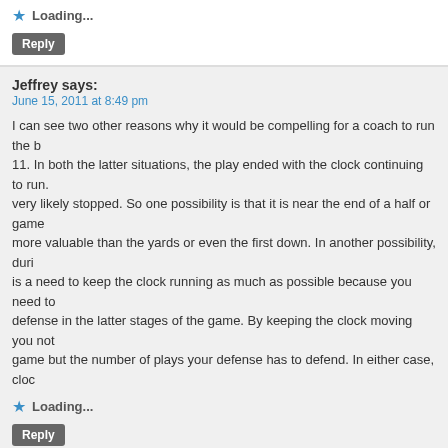Loading...
Reply
Jeffrey says:
June 15, 2011 at 8:49 pm
I can see two other reasons why it would be compelling for a coach to run the b... 11. In both the latter situations, the play ended with the clock continuing to run... very likely stopped. So one possibility is that it is near the end of a half or game... more valuable than the yards or even the first down. In another possibility, duri... is a need to keep the clock running as much as possible because you need to... defense in the latter stages of the game. By keeping the clock moving you not... game but the number of plays your defense has to defend. In either case, cloc...
Loading...
Reply
Jesse Galef says:
June 16, 2011 at 8:31 am
Good thought! The clock management angle is probably smaller than you t...